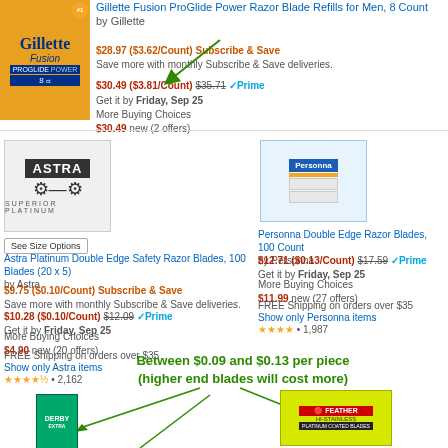[Figure (photo): Gillette Fusion ProGlide Power razor blades 8-count product image]
Gillette Fusion ProGlide Power Razor Blade Refills for Men, 8 Count by Gillette
$28.97 ($3.62/Count) Subscribe & Save
Save more with monthly Subscribe & Save deliveries.
$30.49 ($3.81/Count) $35.71 Prime
Get it by Friday, Sep 25
More Buying Choices
$30.49 new (2 offers)
[Figure (photo): Astra Superior Platinum double edge razor blade logo/product image]
[Figure (photo): Personna Double Edge Razor Blades 100 Count product image]
See Size Options
Astra Platinum Double Edge Safety Razor Blades, 100 Blades (20 x 5)
by Astra
$9.75 ($0.10/Count) Subscribe & Save
Save more with monthly Subscribe & Save deliveries.
$10.28 ($0.10/Count) $12.09 Prime
Get it by Friday, Sep 25
More Buying Choices
$4.90 new (20 offers)
FREE Shipping on orders over $35
Show only Astra items
★★★★½ • 2,162
Personna Double Edge Razor Blades, 100 Count
by Personna
$12.71 ($0.13/Count) $17.59 Prime
Get it by Friday, Sep 25
More Buying Choices
$11.99 new (27 offers)
FREE Shipping on orders over $35
Show only Personna items
★★★★ • 1,987
Between $0.09 and $0.13 per piece
(higher end blades will cost more)
[Figure (photo): Derby razor blade product image]
[Figure (photo): Feather razor blades product image]